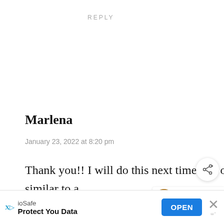REPLY
Marlena
January 23, 2022 at 8:20 pm
Thank you!! I will do this next time. All of mine taste qu bitter also, similar to a
[Figure (screenshot): Share button overlay (circular white button with share icon)]
[Figure (screenshot): What's Next overlay showing Pear Jam with food image thumbnail]
[Figure (screenshot): Advertisement banner: ioSafe - Protect You Data - OPEN button with close X]